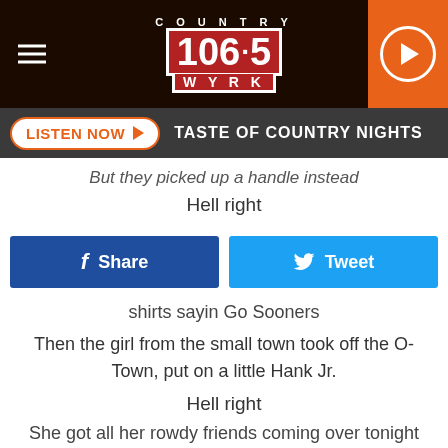[Figure (logo): Country 106.5 WYRK radio station logo with hamburger menu and play button]
LISTEN NOW ▶  TASTE OF COUNTRY NIGHTS
But they picked up a handle instead
Hell right
Share
Tweet
shirts sayin Go Sooners
Then the girl from the small town took off the O-Town, put on a little Hank Jr.
Hell right
She got all her rowdy friends coming over tonight
Hell right hell right
Everybody's throwing down on a Friday night
Somewhere in America